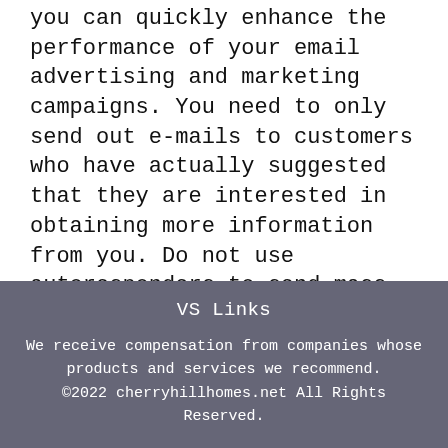you can quickly enhance the performance of your email advertising and marketing campaigns. You need to only send out e-mails to customers who have actually suggested that they are interested in obtaining more information from you. Do not use autoresponders to send mass emails. Have a clear call-to-action and also make certain that you have all the right aspects to aid your e-mails convert.
VS Links

We receive compensation from companies whose products and services we recommend.
©2022 cherryhillhomes.net All Rights Reserved.